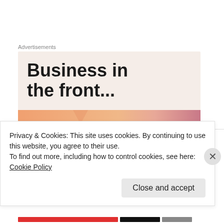Advertisements
[Figure (illustration): Advertisement banner with bold text 'Business in the front...' on a light pink/beige background with a gradient orange-to-pink bar at the bottom.]
Barb Estinson on May 31, 2013 at 11:01 am
Congratulations on your 200th blog, David. Quite
Privacy & Cookies: This site uses cookies. By continuing to use this website, you agree to their use.
To find out more, including how to control cookies, see here: Cookie Policy
Close and accept